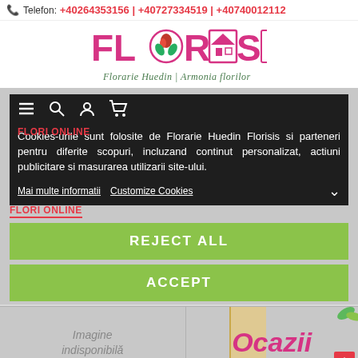Telefon: +40264353156 | +40727334519 | +40740012112
[Figure (logo): Florises / Floraris Huedin - Armonia florilor logo with pink text and green/red emblem icons]
Cookies-urile sunt folosite de Florarie Huedin Florisis si parteneri pentru diferite scopuri, incluzand continut personalizat, actiuni publicitare si masurarea utilizarii site-ului.
FLORI ONLINE
Mai multe informatii  Customize Cookies
REJECT ALL
ACCEPT
Imagine indisponibila
Ocazii